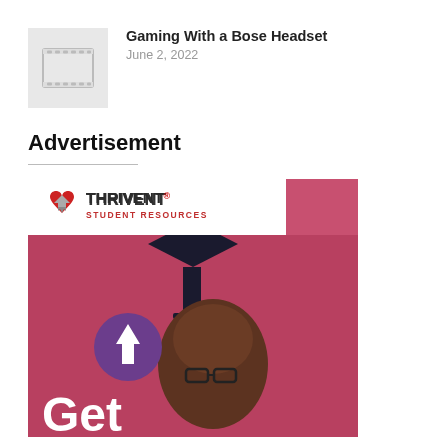[Figure (illustration): Thumbnail image placeholder for article about Gaming With a Bose Headset — grey box with film strip icon]
Gaming With a Bose Headset
June 2, 2022
Advertisement
[Figure (logo): Thrivent Student Resources advertisement banner with logo, photo of a graduating student wearing cap and glasses, purple circle with upward arrow, and 'Get' text in white]